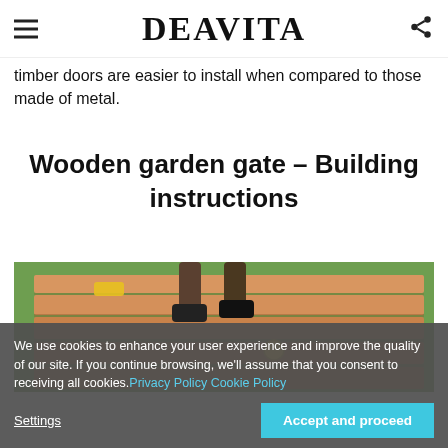DEAVITA
timber doors are easier to install when compared to those made of metal.
Wooden garden gate  – Building instructions
[Figure (photo): Person standing on wooden planks laid out on grass, building a wooden garden gate. Wooden boards arranged in parallel on the ground with tools visible.]
We use cookies to enhance your user experience and improve the quality of our site. If you continue browsing, we'll assume that you consent to receiving all cookies. Privacy Policy  Cookie Policy
Settings
Accept and proceed